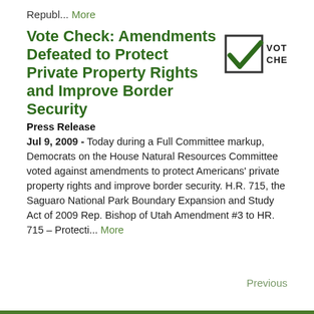Republ... More
Vote Check: Amendments Defeated to Protect Private Property Rights and Improve Border Security
Press Release
Jul 9, 2009 - Today during a Full Committee markup, Democrats on the House Natural Resources Committee voted against amendments to protect Americans' private property rights and improve border security. H.R. 715, the Saguaro National Park Boundary Expansion and Study Act of 2009 Rep. Bishop of Utah Amendment #3 to HR. 715 – Protecti... More
Previous
[Figure (logo): Vote Check logo: a checkbox with a green checkmark and the text VOTE CHECK]